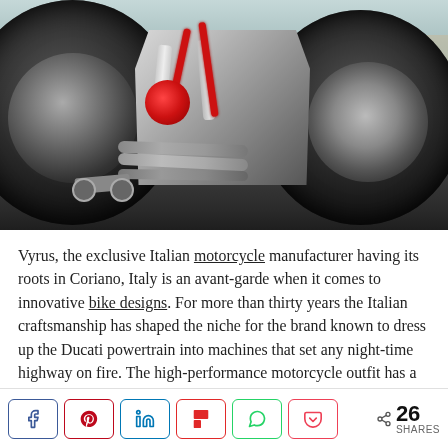[Figure (photo): Close-up photograph of a custom Vyrus motorcycle showing the rear section with large black tyres, polished aluminium frame, red frame tubes, exhaust pipes, and brake disc. Background shows a white sofa and outdoor setting.]
Vyrus, the exclusive Italian motorcycle manufacturer having its roots in Coriano, Italy is an avant-garde when it comes to innovative bike designs. For more than thirty years the Italian craftsmanship has shaped the niche for the brand known to dress up the Ducati powertrain into machines that set any night-time highway on fire. The high-performance motorcycle outfit has a knack for
26 SHARES — Share buttons: Facebook, Pinterest, LinkedIn, Flipboard, WhatsApp, Pocket